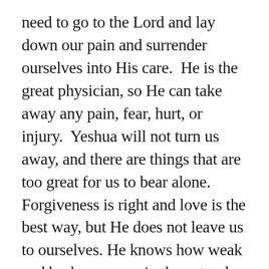need to go to the Lord and lay down our pain and surrender ourselves into His care.  He is the great physician, so He can take away any pain, fear, hurt, or injury.  Yeshua will not turn us away, and there are things that are too great for us to bear alone.  Forgiveness is right and love is the best way, but He does not leave us to ourselves. He knows how weak and broken we are in the natural.
When we have been set free and healed of the hurt, the memory may remain, but the pain and emotion will